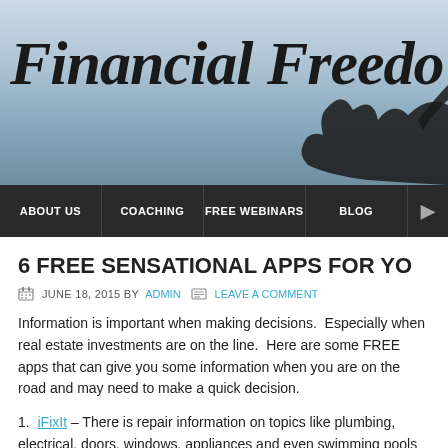[Figure (illustration): Website header banner with sky/gradient background, large bold italic cursive title 'Financial Freedo' (truncated) and a silhouette of a person with arms outstretched]
ABOUT US | COACHING | FREE WEBINARS | BLOG
6 FREE SENSATIONAL APPS FOR YO
JUNE 18, 2015 BY ADMIN   LEAVE A COMMENT
Information is important when making decisions.  Especially when real estate investments are on the line.  Here are some FREE apps that can give you some information when you are on the road and may need to make a quick decision.
1.  iFixIt – There is repair information on topics like plumbing, electrical, doors, windows, appliances and even swimming pools which can give you a quick idea of what might be the problem and how to fix it.